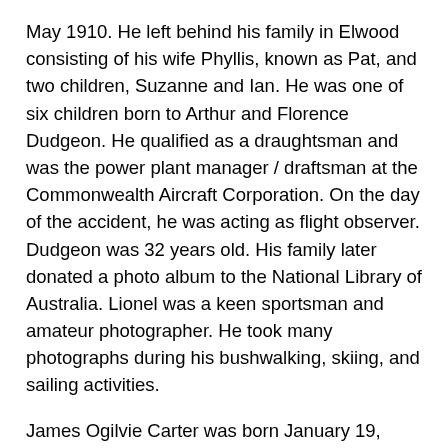May 1910.  He left behind his family in Elwood consisting of his wife Phyllis, known as Pat, and two children, Suzanne and Ian.  He was one of six children born to Arthur and Florence Dudgeon.  He qualified as a draughtsman and was the power plant manager / draftsman at the Commonwealth Aircraft Corporation.  On the day of the accident, he was acting as flight observer. Dudgeon was 32 years old.  His family later donated a photo album to the National Library of Australia.  Lionel was a keen sportsman and amateur photographer.  He took many photographs during his bushwalking, skiing, and sailing activities.
James Ogilvie Carter was born January 19, 1911 and died four days short of his 33rd birthday.  He grew up in Sunderland, Durham, England and attended the Durham School.  He joined the Royal Air Force in September 1933.  He resigned his short service commission on 1st